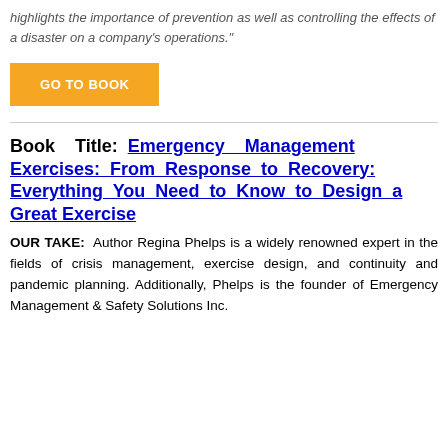highlights the importance of prevention as well as controlling the effects of a disaster on a company's operations."
GO TO BOOK
Book Title: Emergency Management Exercises: From Response to Recovery: Everything You Need to Know to Design a Great Exercise
OUR TAKE: Author Regina Phelps is a widely renowned expert in the fields of crisis management, exercise design, and continuity and pandemic planning. Additionally, Phelps is the founder of Emergency Management & Safety Solutions Inc.